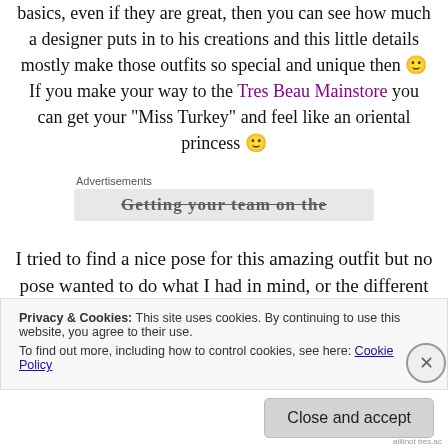basics, even if they are great, then you can see how much a designer puts in to his creations and this little details mostly make those outfits so special and unique then 🙂 If you make your way to the Tres Beau Mainstore you can get your "Miss Turkey" and feel like an oriental princess 🙂
Advertisements
[Figure (other): Partially visible advertisement banner with bold strikethrough text]
I tried to find a nice pose for this amazing outfit but no pose wanted to do what I had in mind, or the different
Privacy & Cookies: This site uses cookies. By continuing to use this website, you agree to their use.
To find out more, including how to control cookies, see here: Cookie Policy
Close and accept